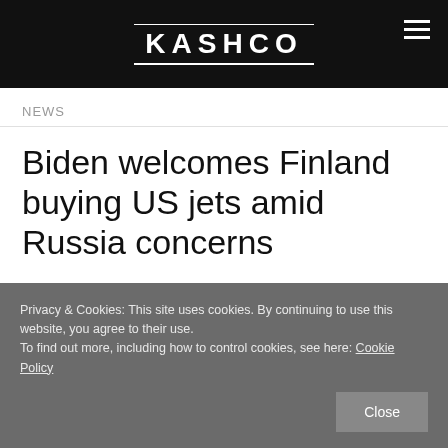KASHCO
NEWS
Biden welcomes Finland buying US jets amid Russia concerns
Privacy & Cookies: This site uses cookies. By continuing to use this website, you agree to their use.
To find out more, including how to control cookies, see here: Cookie Policy
Close